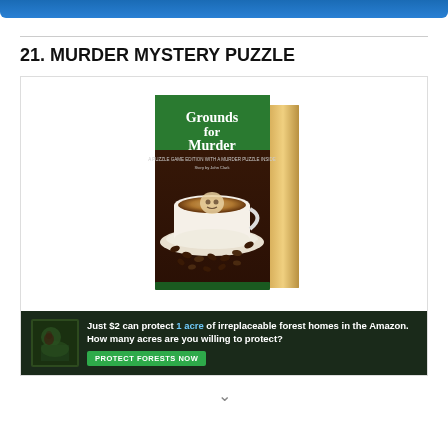21. MURDER MYSTERY PUZZLE
[Figure (photo): Product photo of a murder mystery puzzle box titled 'Grounds for Murder' featuring a coffee cup with a skull and crossbones latte art pattern surrounded by coffee beans, with brown and green packaging.]
[Figure (infographic): Advertisement banner with dark forest background: 'Just $2 can protect 1 acre of irreplaceable forest homes in the Amazon. How many acres are you willing to protect?' with a green PROTECT FORESTS NOW button.]